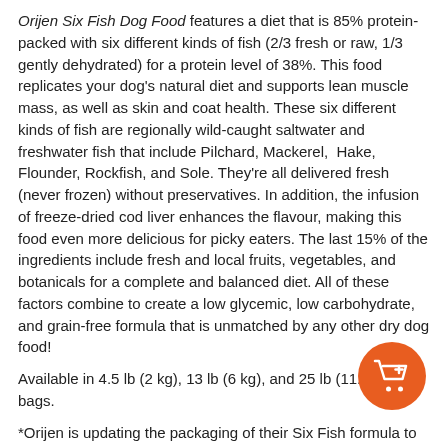Orijen Six Fish Dog Food features a diet that is 85% protein-packed with six different kinds of fish (2/3 fresh or raw, 1/3 gently dehydrated) for a protein level of 38%. This food replicates your dog's natural diet and supports lean muscle mass, as well as skin and coat health. These six different kinds of fish are regionally wild-caught saltwater and freshwater fish that include Pilchard, Mackerel,  Hake, Flounder, Rockfish, and Sole. They're all delivered fresh (never frozen) without preservatives. In addition, the infusion of freeze-dried cod liver enhances the flavour, making this food even more delicious for picky eaters. The last 15% of the ingredients include fresh and local fruits, vegetables, and botanicals for a complete and balanced diet. All of these factors combine to create a low glycemic, low carbohydrate, and grain-free formula that is unmatched by any other dry dog food!
Available in 4.5 lb (2 kg), 13 lb (6 kg), and 25 lb (11.4 kg) bags.
*Orijen is updating the packaging of their Six Fish formula to what is pictured. During this transition, you may receive the old or new packaging. This product still features the same tasty ingredients your puppy loves, but with a fresh new look!